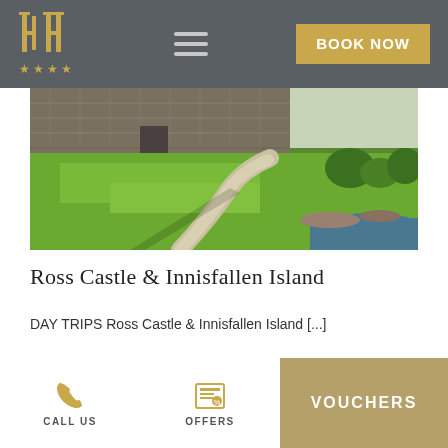Hotel logo with 4 stars, hamburger menu, BOOK NOW button
[Figure (photo): Aerial/landscape photo of Ross Castle ruins with green lawn, walking path, and water visible at bottom right, blue sky]
Ross Castle & Innisfallen Island
DAY TRIPS Ross Castle & Innisfallen Island [...]
CALL US | OFFERS | VOUCHERS